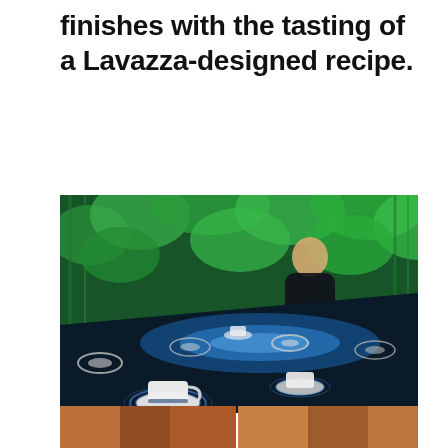finishes with the tasting of a Lavazza-designed recipe.
[Figure (photo): A woman in a black top stands at a long illuminated counter/bar with a vivid blue glowing surface, surrounded by projected forest imagery on the walls. Coffee cups on saucers are placed on the glowing table surface with circular light rings around them.]
[Figure (photo): Partial view of two smaller photos at the bottom of the page, appearing to show warm-toned natural or food-related imagery.]